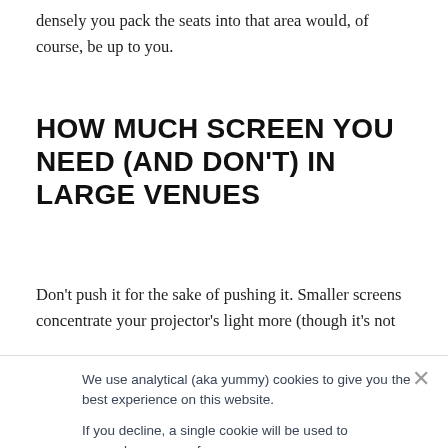densely you pack the seats into that area would, of course, be up to you.
HOW MUCH SCREEN YOU NEED (AND DON'T) IN LARGE VENUES
Don't push it for the sake of pushing it. Smaller screens concentrate your projector's light more (though it's not
We use analytical (aka yummy) cookies to give you the best experience on this website.

If you decline, a single cookie will be used to remember your preference.
I'm OK with that.
Decline